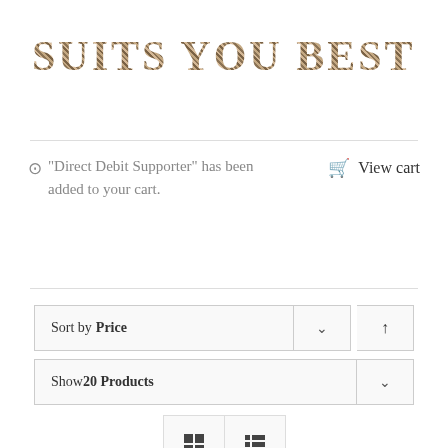SUITS YOU BEST
"Direct Debit Supporter" has been added to your cart.
View cart
Sort by Price
Show 20 Products